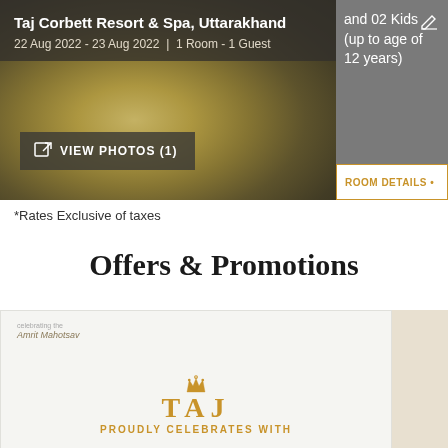[Figure (screenshot): Hotel booking screenshot showing Taj Corbett Resort & Spa header with dates and room info, food background image, VIEW PHOTOS button, and a right panel with kids age info and ROOM DETAILS button]
*Rates Exclusive of taxes
Offers & Promotions
[Figure (photo): Promotional card with Amrit Mahotsav logo, TAJ crown logo, TAJ wordmark, and PROUDLY CELEBRATES WITH text in gold]
[Figure (photo): Partial second promotional card, partially visible on right edge]